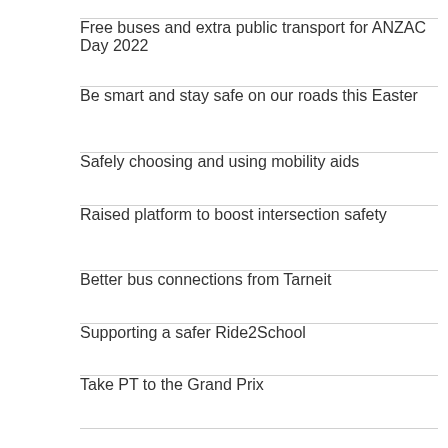Free buses and extra public transport for ANZAC Day 2022
Be smart and stay safe on our roads this Easter
Safely choosing and using mobility aids
Raised platform to boost intersection safety
Better bus connections from Tarneit
Supporting a safer Ride2School
Take PT to the Grand Prix